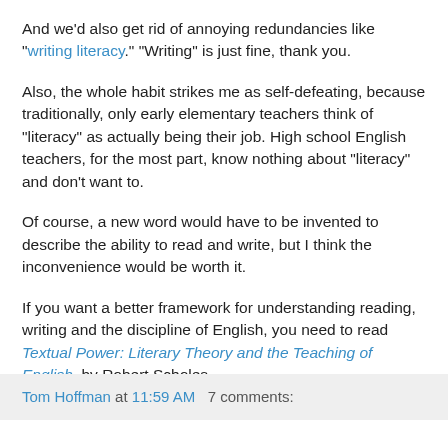And we'd also get rid of annoying redundancies like "writing literacy." "Writing" is just fine, thank you.
Also, the whole habit strikes me as self-defeating, because traditionally, only early elementary teachers think of "literacy" as actually being their job. High school English teachers, for the most part, know nothing about "literacy" and don't want to.
Of course, a new word would have to be invented to describe the ability to read and write, but I think the inconvenience would be worth it.
If you want a better framework for understanding reading, writing and the discipline of English, you need to read Textual Power: Literary Theory and the Teaching of English, by Robert Scholes.
Tom Hoffman at 11:59 AM   7 comments: